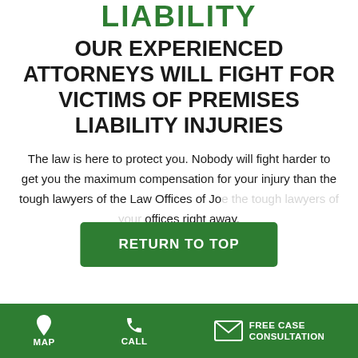LIABILITY
OUR EXPERIENCED ATTORNEYS WILL FIGHT FOR VICTIMS OF PREMISES LIABILITY INJURIES
The law is here to protect you. Nobody will fight harder to get you the maximum compensation for your injury than the tough lawyers of the Law Offices of Joe [name] ... our offices right away.
RETURN TO TOP
MAP   CALL   FREE CASE CONSULTATION